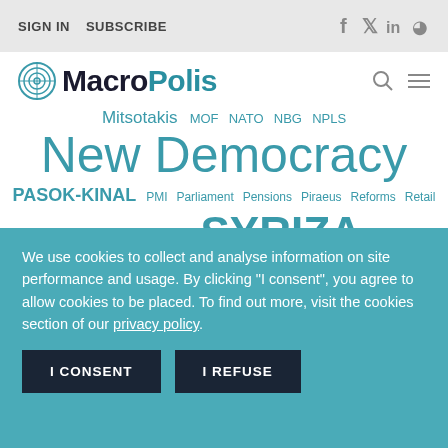SIGN IN  SUBSCRIBE
MacroPolis
[Figure (infographic): Tag cloud with Greek politics and economy terms: Mitsotakis, MOF, NATO, NBG, NPLS, New Democracy, PASOK-KINAL, PMI, Parliament, Pensions, Piraeus, Reforms, Retail, Revenues, Russia, SYRIZA, Sentiment, Taxes, Tourism, Trade, Tsipras, Turkey, USA, Ukraine, Unemployment]
We use cookies to collect and analyse information on site performance and usage. By clicking "I consent", you agree to allow cookies to be placed. To find out more, visit the cookies section of our privacy policy.